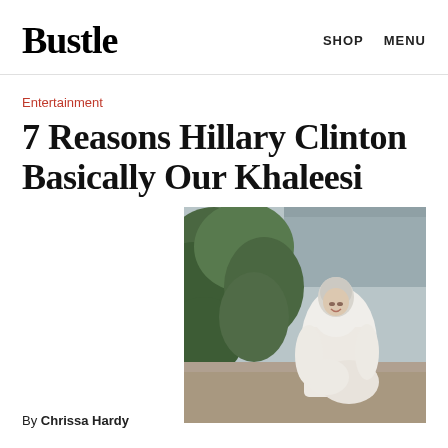Bustle   SHOP   MENU
Entertainment
7 Reasons Hillary Clinton Basically Our Khaleesi
[Figure (photo): A woman in a white flowing gown walking outdoors, with lush greenery in the background and a stone or concrete structure behind her.]
By Chrissa Hardy